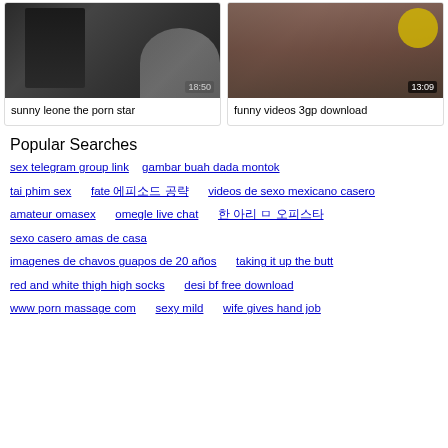[Figure (screenshot): Video thumbnail: sunny leone the porn star, duration 18:50]
sunny leone the porn star
[Figure (screenshot): Video thumbnail: funny videos 3gp download, duration 13:09]
funny videos 3gp download
Popular Searches
sex telegram group link
gambar buah dada montok
tai phim sex
fate 에피소드 공략
videos de sexo mexicano casero
amateur omasex
omegle live chat
한 아리 ㅁ 오피스타
sexo casero amas de casa
imagenes de chavos guapos de 20 años
taking it up the butt
red and white thigh high socks
desi bf free download
www porn massage com
sexy mild
wife gives hand job